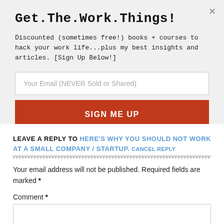Get.The.Work.Things!
Discounted (sometimes free!) books + courses to hack your work life...plus my best insights and articles. [Sign Up Below!]
Your Email (NEVER Sold or Shared)
SIGN ME UP
LEAVE A REPLY TO HERE'S WHY YOU SHOULD NOT WORK AT A SMALL COMPANY / STARTUP. CANCEL REPLY
Your email address will not be published. Required fields are marked *
Comment *